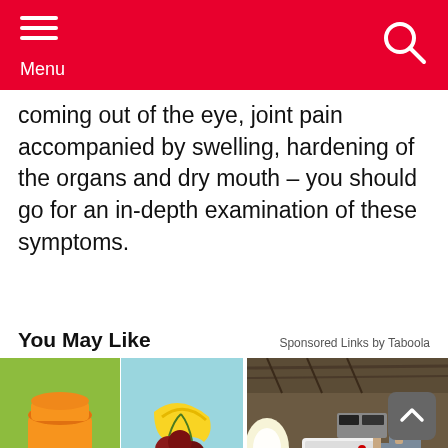Menu
coming out of the eye, joint pain accompanied by swelling, hardening of the organs and dry mouth – you should go for an in-depth examination of these symptoms.
You May Like
Sponsored Links by Taboola
[Figure (illustration): Illustration of spilled pill bottle with white pills and illustrated fruit bowl with bananas, cherries, and other fruits]
10 Common Food and Medication Interactions to Avoid
Nine Recipes
[Figure (photo): Photo of a man standing in a converted airplane home next to a washing machine, looking at equipment]
Man Turns Old Airplane Into His Home; Look When He Opens The...
TheDecorIdeas